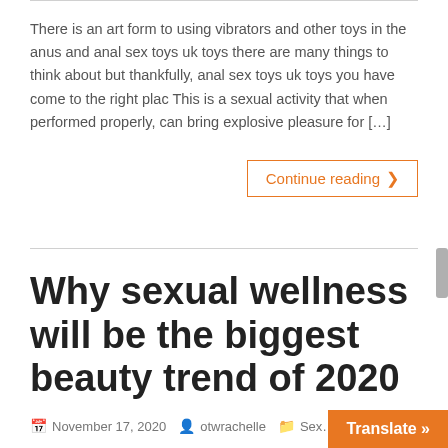There is an art form to using vibrators and other toys in the anus and anal sex toys uk toys there are many things to think about but thankfully, anal sex toys uk toys you have come to the right plac This is a sexual activity that when performed properly, can bring explosive pleasure for […]
Continue reading ›
Why sexual wellness will be the biggest beauty trend of 2020
November 17, 2020   otwrachelle   Sex… toys